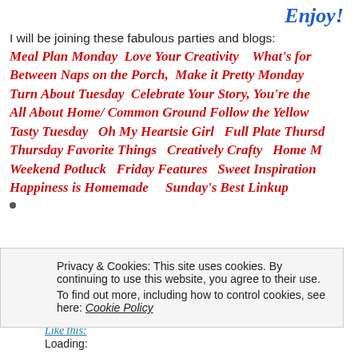Enjoy!
I will be joining these fabulous parties and blogs:
Meal Plan Monday  Love Your Creativity   What's for  Between Naps on the Porch,  Make it Pretty Monday  Turn About Tuesday  Celebrate Your Story, You're the  All About Home/ Common Ground Follow the Yellow  Tasty Tuesday   Oh My Heartsie Girl   Full Plate Thursd  Thursday Favorite Things   Creatively Crafty   Home M  Weekend Potluck   Friday Features   Sweet Inspiration  Happiness is Homemade     Sunday's Best Linkup
Privacy & Cookies: This site uses cookies. By continuing to use this website, you agree to their use. To find out more, including how to control cookies, see here: Cookie Policy
Close and accept
Like this:
Loading: